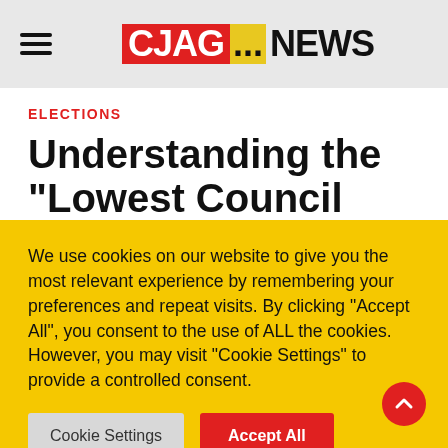CJAG.NEWS
ELECTIONS
Understanding the “Lowest Council tax” slogan
by Cyril Richard · 14 March 2022 · 8 mins read
We use cookies on our website to give you the most relevant experience by remembering your preferences and repeat visits. By clicking “Accept All”, you consent to the use of ALL the cookies. However, you may visit "Cookie Settings" to provide a controlled consent.